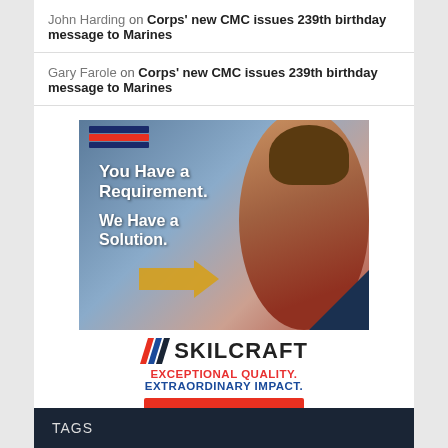John Harding on Corps’ new CMC issues 239th birthday message to Marines
Gary Farole on Corps’ new CMC issues 239th birthday message to Marines
[Figure (photo): SKILCRAFT advertisement showing a woman in a red jacket holding an envelope. Text reads: 'You Have a Requirement. We Have a Solution.' Logo shows SKILCRAFT with taglines 'EXCEPTIONAL QUALITY. EXTRAORDINARY IMPACT.' and a 'Learn More' button.]
TAGS